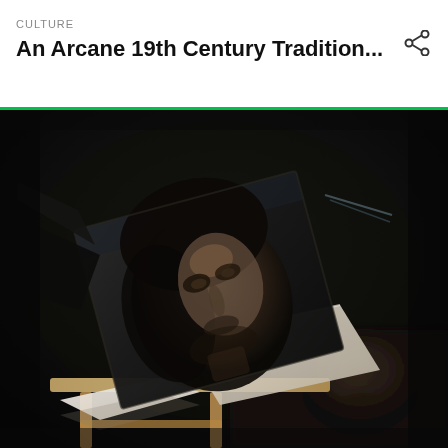CULTURE
An Arcane 19th Century Tradition...
[Figure (photo): Dark, dramatic photograph showing a vintage portrait or photograph of a person's face, held up on what appears to be a wooden stand or easel, set against a very dark background. The image has a moody, black and white or very dark tone with wooden furniture visible in the lower foreground.]